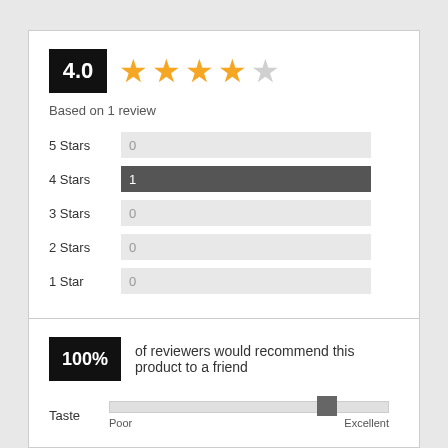[Figure (infographic): Star rating display showing 4.0 out of 5 stars with black score box and gold/grey stars]
Based on 1 review
[Figure (bar-chart): Star rating breakdown]
100% of reviewers would recommend this product to a friend
[Figure (infographic): Taste slider from Poor to Excellent, thumb positioned near Excellent (~78%)]